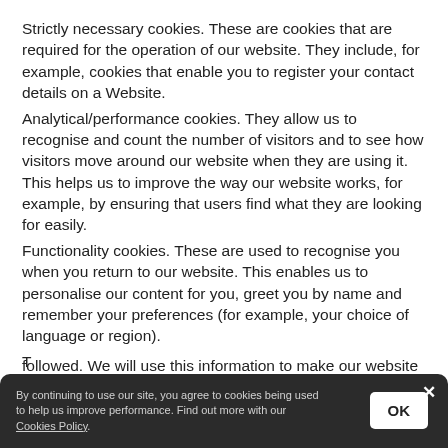Strictly necessary cookies. These are cookies that are required for the operation of our website. They include, for example, cookies that enable you to register your contact details on a Website.
Analytical/performance cookies. They allow us to recognise and count the number of visitors and to see how visitors move around our website when they are using it. This helps us to improve the way our website works, for example, by ensuring that users find what they are looking for easily.
Functionality cookies. These are used to recognise you when you return to our website. This enables us to personalise our content for you, greet you by name and remember your preferences (for example, your choice of language or region).
followed. We will use this information to make our website
By continuing to use our site, you agree to cookies being used to help us improve performance. Find out more with our Cookies Policy.